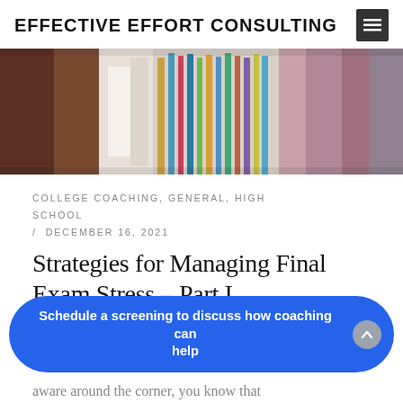EFFECTIVE EFFORT CONSULTING
[Figure (photo): Close-up photo of colored pencils alongside folded fabric/clothing items in warm tones]
COLLEGE COACHING, GENERAL, HIGH SCHOOL / DECEMBER 16, 2021
Strategies for Managing Final Exam Stress – Part I
The end of the semester is quickly
Schedule a screening to discuss how coaching can help
aware around the corner, you know that